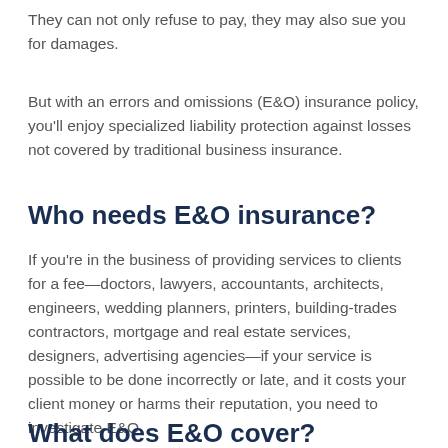They can not only refuse to pay, they may also sue you for damages.
But with an errors and omissions (E&O) insurance policy, you'll enjoy specialized liability protection against losses not covered by traditional business insurance.
Who needs E&O insurance?
If you're in the business of providing services to clients for a fee—doctors, lawyers, accountants, architects, engineers, wedding planners, printers, building-trades contractors, mortgage and real estate services, designers, advertising agencies—if your service is possible to be done incorrectly or late, and it costs your client money or harms their reputation, you need to investigate E&O.
What does E&O cover?